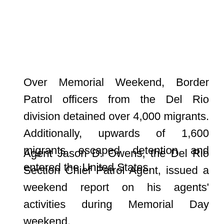Over Memorial Weekend, Border Patrol officers from the Del Rio division detained over 4,000 migrants. Additionally, upwards of 1,600 migrants escaped detention and entered the United States.
Agent Jason D. Owens, the Del Rio Section Chief Patrol Agent, issued a weekend report on his agents' activities during Memorial Day weekend.